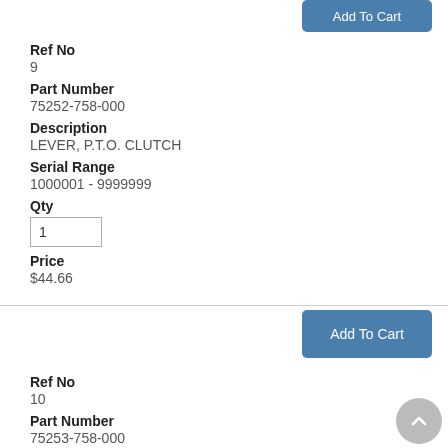[Figure (other): Add To Cart button (partially visible at top)]
Ref No
9
Part Number
75252-758-000
Description
LEVER, P.T.O. CLUTCH
Serial Range
1000001 - 9999999
Qty
1
Price
$44.66
[Figure (other): Add To Cart button]
Ref No
10
Part Number
75253-758-000